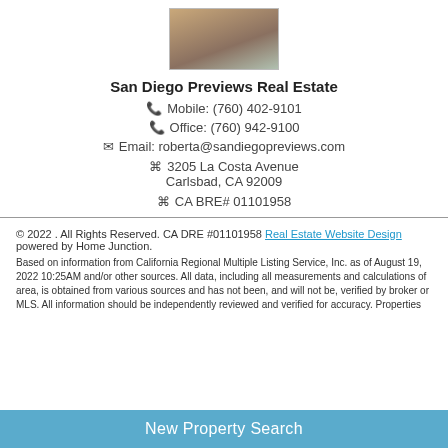[Figure (photo): Agent headshot photo]
San Diego Previews Real Estate
📞 Mobile: (760) 402-9101
📞 Office: (760) 942-9100
✉ Email: roberta@sandiegopreviews.com
🏢 3205 La Costa Avenue Carlsbad, CA 92009
🏢 CA BRE# 01101958
© 2022 . All Rights Reserved. CA DRE #01101958 Real Estate Website Design powered by Home Junction. Based on information from California Regional Multiple Listing Service, Inc. as of August 19, 2022 10:25AM and/or other sources. All data, including all measurements and calculations of area, is obtained from various sources and has not been, and will not be, verified by broker or MLS. All information should be independently reviewed and verified for accuracy. Properties
New Property Search